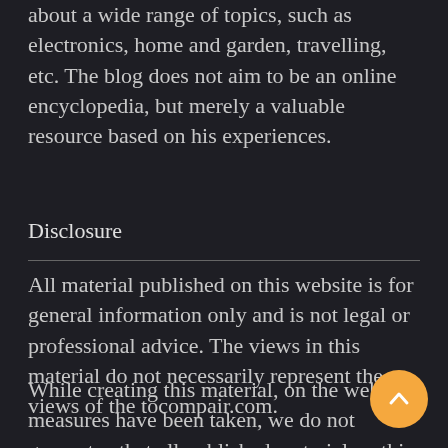about a wide range of topics, such as electronics, home and garden, travelling, etc. The blog does not aim to be an online encyclopedia, but merely a valuable resource based on his experiences.
Disclosure
All material published on this website is for general information only and is not legal or professional advice. The views in this material do not necessarily represent the views of the tocompair.com.
While creating this material, on the website measures have been taken, we do not guarantee that all published material on this website is complete, accurate and up-to-date.